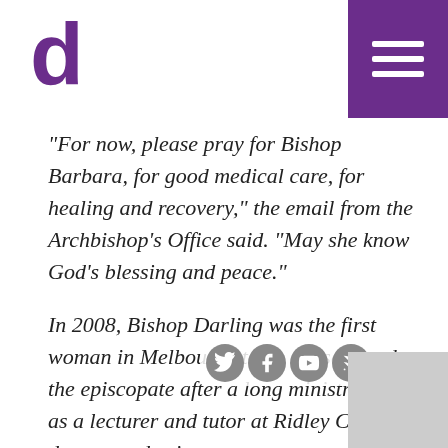d [logo] | [hamburger menu]
“For now, please pray for Bishop Barbara, for good medical care, for healing and recovery,” the email from the Archbishop’s Office said. “May she know God’s blessing and peace.”
In 2008, Bishop Darling was the first woman in Melbourne to be consecrated to the episcopate after a long ministry as a lecturer and tutor at Ridley College, deacon and priest.
She was farewelled after five years as Bishop of the Eastern Region on 26 October 2014 in a Service of